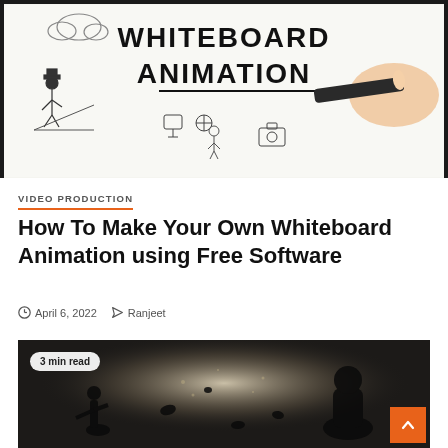[Figure (screenshot): Whiteboard animation screenshot showing hand holding a marker drawing cartoon figures on a white background with text 'WHITEBOARD ANIMATION']
VIDEO PRODUCTION
How To Make Your Own Whiteboard Animation using Free Software
April 6, 2022  Ranjeet
[Figure (screenshot): Dark cinematic image of a battle scene with a '3 min read' badge and an orange scroll-to-top button]